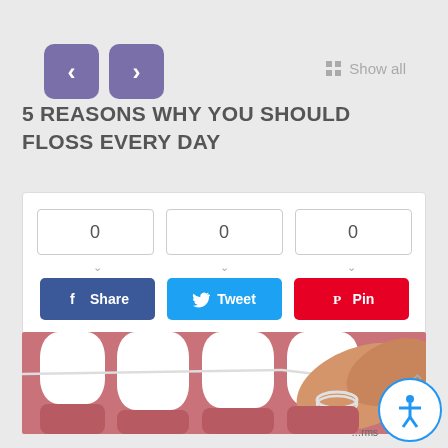[Figure (screenshot): Navigation arrows (left and right) in purple rounded squares, and a 'Show all' link with grid icon]
5 REASONS WHY YOU SHOULD FLOSS EVERY DAY
[Figure (infographic): Social sharing widget with three count boxes showing 0 and Share (Facebook), Tweet (Twitter), and Pin (Pinterest) buttons]
[Figure (photo): Close-up photo of teeth being flossed with dental floss held between fingers]